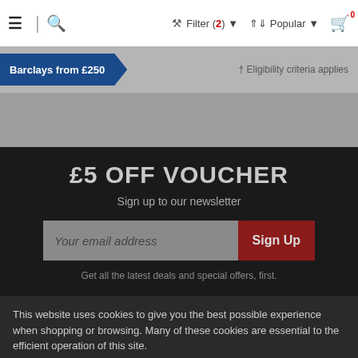≡ | 🔍   Filter (2) ▾   ↑↓ Popular ▾   🛒 0
Barclays from £250
† Eligibility criteria applies
£5 OFF VOUCHER
Sign up to our newsletter
Your email address
Sign Up
Get all the latest deals and special offers, first.
This website uses cookies to give you the best possible experience when shopping or browsing. Many of these cookies are essential to the efficient operation of this site.
Cookies Settings
Accept All Cookies